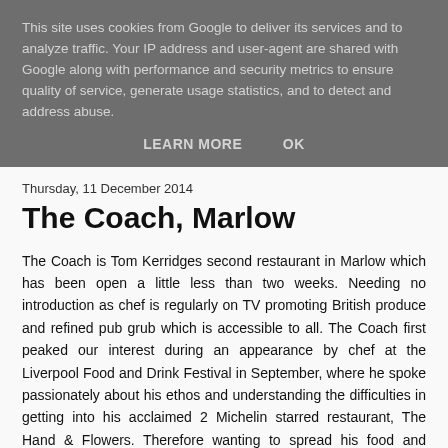This site uses cookies from Google to deliver its services and to analyze traffic. Your IP address and user-agent are shared with Google along with performance and security metrics to ensure quality of service, generate usage statistics, and to detect and address abuse.
LEARN MORE   OK
Thursday, 11 December 2014
The Coach, Marlow
The Coach is Tom Kerridges second restaurant in Marlow which has been open a little less than two weeks. Needing no introduction as chef is regularly on TV promoting British produce and refined pub grub which is accessible to all. The Coach first peaked our interest during an appearance by chef at the Liverpool Food and Drink Festival in September, where he spoke passionately about his ethos and understanding the difficulties in getting into his acclaimed 2 Michelin starred restaurant, The Hand & Flowers. Therefore wanting to spread his food and seeming genuinely humble